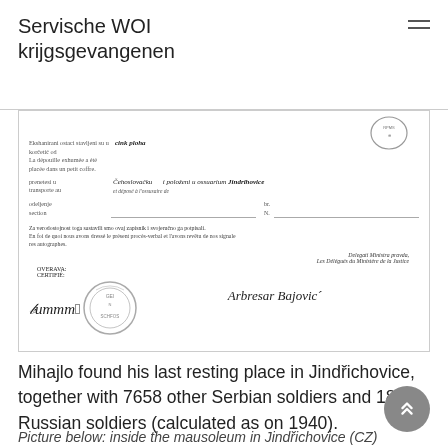Servische WOI krijgsgevangenen
[Figure (photo): Scanned official document in Serbian/French, showing exhumation record with text about remains being placed in a zinc box and transferred to Czechoslovakia, Jindrihovice. Contains official stamp and two signatures, one on the left labeled OVERAVA/CERTIFIÉ and one on the right labeled Delegati Ministra pravde / Les Délégués du Ministère de la Justice.]
Mihajlo found his last resting place in Jindřichovice, together with 7658 other Serbian soldiers and 189 Russian soldiers (calculated as on 1940).
Picture below: inside the mausoleum in Jindřichovice (CZ)